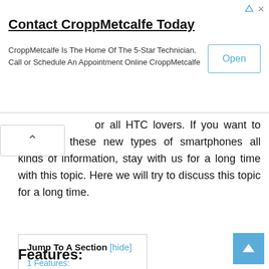[Figure (screenshot): Advertisement banner for CroppMetcalfe with title 'Contact CroppMetcalfe Today', body text 'CroppMetcalfe Is The Home Of The 5-Star Technician. Call or Schedule An Appointment Online CroppMetcalfe', and an 'Open' button.]
for all HTC lovers. If you want to purchase these new types of smartphones all kinds of information, stay with us for a long time with this topic. Here we will try to discuss this topic for a long time.
| Jump To A Section [hide] |
| 1 Features: |
| 2 Hardware: |
| 3 HTC U13 Release Date: |
| 4 HTC U13 Price: |
Features: